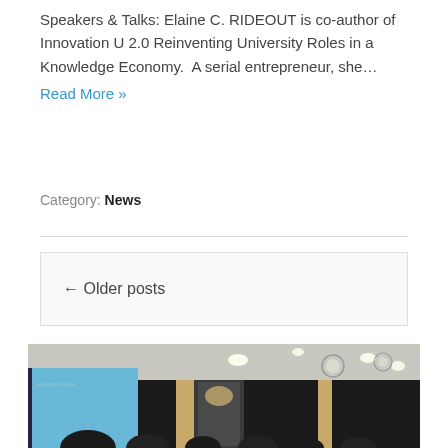Speakers & Talks: Elaine C. RIDEOUT is co-author of Innovation U 2.0 Reinventing University Roles in a Knowledge Economy.  A serial entrepreneur, she… Read More »
Category: News
← Older posts
[Figure (photo): Photo of a conference or lecture room with a projection screen showing a presentation on the left, dark paneled walls, ceiling spotlights, and a group of people seated in the foreground.]